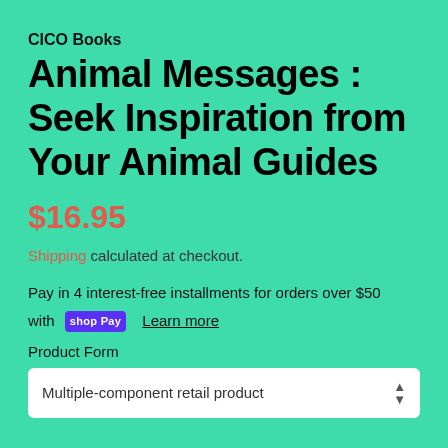CICO Books
Animal Messages : Seek Inspiration from Your Animal Guides
$16.95
Shipping calculated at checkout.
Pay in 4 interest-free installments for orders over $50 with shop Pay Learn more
Product Form
Multiple-component retail product